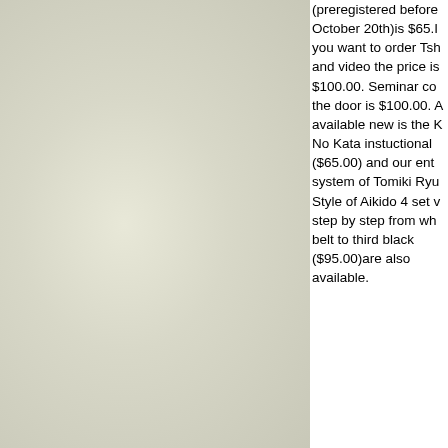(preregistered before October 20th)is $65. If you want to order Tshirts and video the price is $100.00. Seminar co the door is $100.00. available new is the K No Kata instuctional ($65.00) and our ent system of Tomiki Ryu Style of Aikido 4 set step by step from wh belt to third black ($95.00)are also available.
~~~ To submit a new item to AikiWeb's fro page, click here. ~~~
10-24-2006, 04:58 AM
L. Camejo
Re: Aikido and Judo Seminar in B OK, 11/3-11/5
Quote: